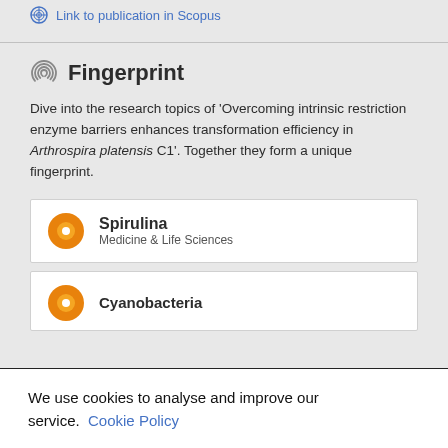Link to publication in Scopus
Fingerprint
Dive into the research topics of 'Overcoming intrinsic restriction enzyme barriers enhances transformation efficiency in Arthrospira platensis C1'. Together they form a unique fingerprint.
Spirulina
Medicine & Life Sciences
Cyanobacteria
We use cookies to analyse and improve our service. Cookie Policy